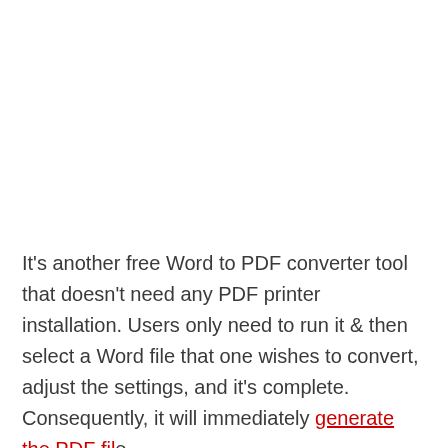It's another free Word to PDF converter tool that doesn't need any PDF printer installation. Users only need to run it & then select a Word file that one wishes to convert, adjust the settings, and it's complete. Consequently, it will immediately generate the PDF file.